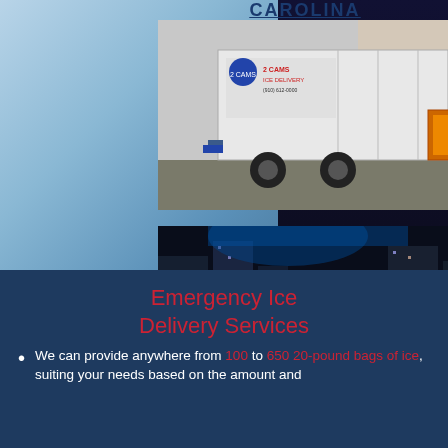CAROLINA
[Figure (photo): Daytime photo of a 2 Cams Ice Delivery trailer parked in a lot, with a white refrigerated trailer unit and orange equipment visible]
[Figure (photo): Nighttime photo of a 2 Cams Ice Delivery truck and trailer in an urban setting with city lights and buildings in the background]
Emergency Ice Delivery Services
We can provide anywhere from 100 to 650 20-pound bags of ice, suiting your needs based on the amount and